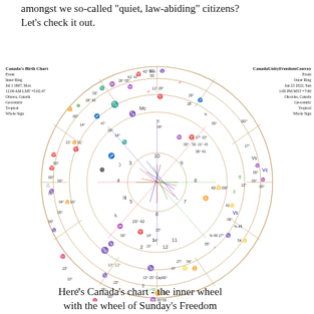amongst we so-called "quiet, law-abiding" citizens? Let's check it out.
[Figure (other): Bi-wheel astrological chart showing Canada's Birth Chart (inner ring, Jul 1 1867, Mon, 12:00 AM LMT +5:02:47, Ottawa, Canada, Geocentric, Tropical, Whole Sign) and CanadaUnityFreedomConvoy (outer ring, Jan 23 2022, Sun, 1:00 PM MST +7:00, Okotoks, Canada, Geocentric, Tropical, Whole Sign). The chart shows planetary positions, house divisions, and aspect lines in a circular format.]
Here's Canada's chart - the inner wheel with the wheel of Sunday's Freedom